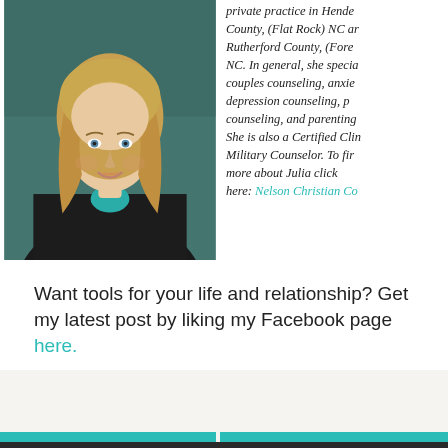[Figure (photo): Professional headshot of a woman with blonde hair wearing a black blazer over a teal top, photographed against a teal/dark green background.]
private practice in Henderson County, (Flat Rock) NC and Rutherford County, (Forest City) NC. In general, she specializes in couples counseling, anxiety, depression counseling, pre-marital counseling, and parenting issues. She is also a Certified Clinical Military Counselor. To find out more about Julia click here: Nelson Christian Co...
Want tools for your life and relationship? Get my latest post by liking my Facebook page here.
View All
Supporting a Partner...